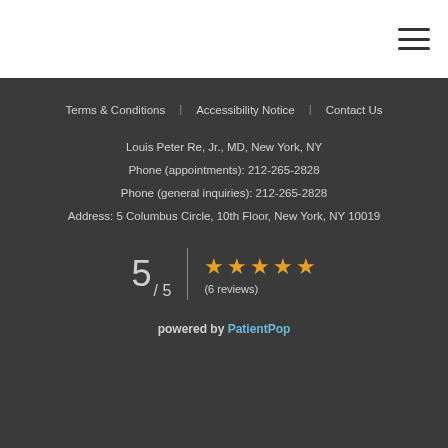≡ (hamburger menu icon)
Terms & Conditions
Accessibility Notice
Contact Us
Louis Peter Re, Jr., MD, New York, NY
Phone (appointments): 212-265-2828
Phone (general inquiries): 212-265-2828
Address: 5 Columbus Circle, 10th Floor, New York, NY 10019
5 / 5  ★★★★★  (6 reviews)
powered by PatientPop